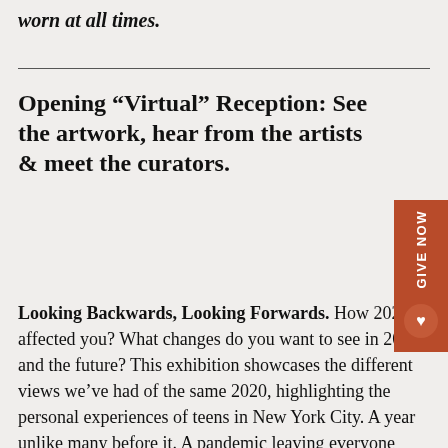worn at all times.
Opening “Virtual” Reception: See the artwork, hear from the artists & meet the curators.
Looking Backwards, Looking Forwards. How 2020 affected you? What changes do you want to see in 2021 and the future? This exhibition showcases the different views we’ve had of the same 2020, highlighting the personal experiences of teens in New York City. A year unlike many before it. A pandemic leaving everyone working, learning, and socializing